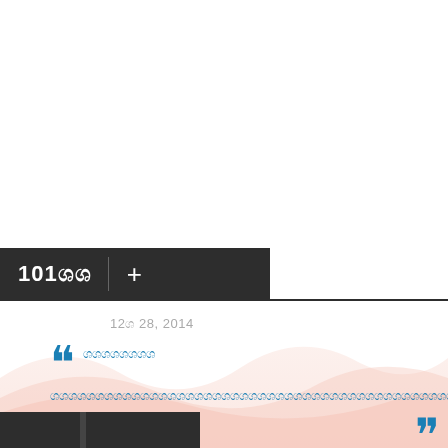101ශශ +
12ශ 28, 2014
ශශශශශශශශ ශශශශශශශශශශශශශශශශශශශශශශශශශශශශශශශශශශශශශශශශශශශශශශශශශශශශශශශශශශශශශශශශශශශශශශශශශශශශශශශ......